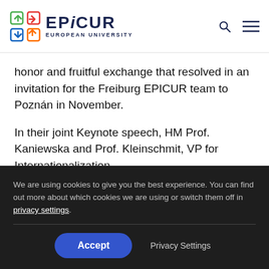EPICUR EUROPEAN UNIVERSITY
honor and fruitful exchange that resolved in an invitation for the Freiburg EPICUR team to Poznán in November.
In their joint Keynote speech, HM Prof. Kaniewska and Prof. Kleinschmit, VP for Internationalization
We are using cookies to give you the best experience. You can find out more about which cookies we are using or switch them off in privacy settings.